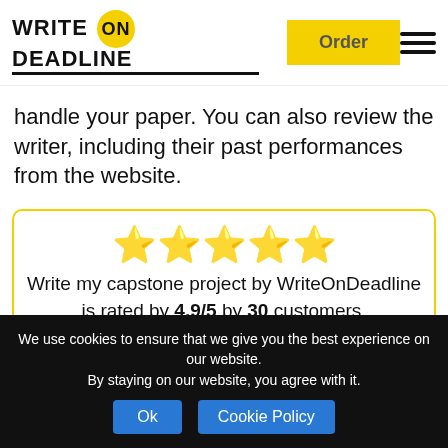WRITE ON DEADLINE | Order
handle your paper. You can also review the writer, including their past performances from the website.
[Figure (infographic): 5 gold stars rating display with review text: Write my capstone project by WriteOnDeadline is rated by 4.9/5 by 30 customers. Leave your feedback with all the details of the order through the contact form.]
We use cookies to ensure that we give you the best experience on our website. By staying on our website, you agree with it.